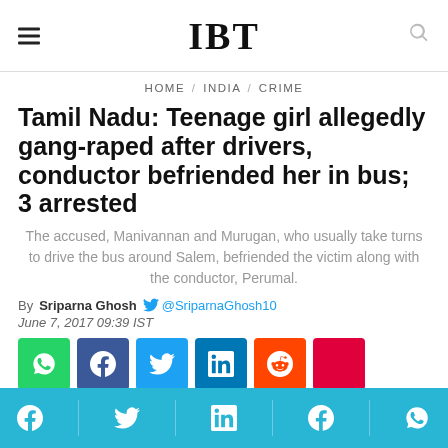IBT
HOME / INDIA / CRIME
Tamil Nadu: Teenage girl allegedly gang-raped after drivers, conductor befriended her in bus; 3 arrested
The accused, Manivannan and Murugan, who usually take turns to drive the bus around Salem, befriended the victim along with the conductor, Perumal.
By Sriparna Ghosh @SriparnaGhosh10
June 7, 2017 09:39 IST
[Figure (infographic): Social share buttons: WhatsApp (green), Facebook (dark blue), Twitter (light blue), LinkedIn (blue), Reddit (orange), red button]
Bottom navigation bar with Facebook, Twitter, LinkedIn, Messenger, WhatsApp icons on cyan background